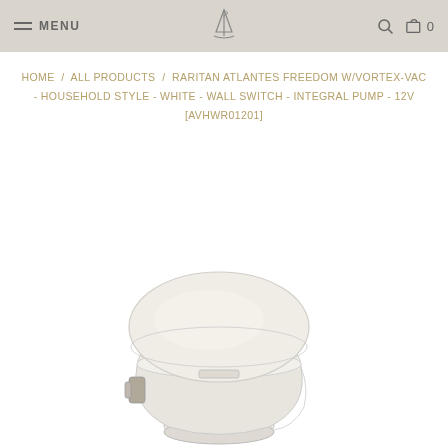MENU | [logo] | [search] | [cart] 0
HOME / ALL PRODUCTS / RARITAN ATLANTES FREEDOM W/VORTEX-VAC - HOUSEHOLD STYLE - WHITE - WALL SWITCH - INTEGRAL PUMP - 12V [AVHWR01201]
[Figure (photo): White household-style marine toilet (Raritan Atlantes Freedom) with closed lid, viewed from a three-quarter front angle. The toilet has a round bowl, a white seat, and a compact base with metal hardware visible on the side.]